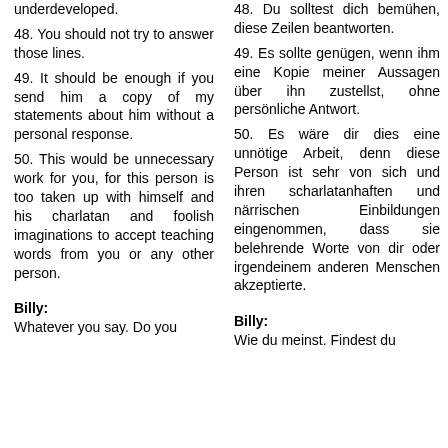underdeveloped.
48. You should not try to answer those lines.
48. Du solltest dich bemühen, diese Zeilen beantworten.
49. It should be enough if you send him a copy of my statements about him without a personal response.
49. Es sollte genügen, wenn ihm eine Kopie meiner Aussagen über ihn zustellst, ohne persönliche Antwort.
50. This would be unnecessary work for you, for this person is too taken up with himself and his charlatan and foolish imaginations to accept teaching words from you or any other person.
50. Es wäre dir dies eine unnötige Arbeit, denn diese Person ist sehr von sich und ihren scharlatanhaften und närrischen Einbildungen eingenommen, dass sie belehrende Worte von dir oder irgendeinem anderen Menschen akzeptierte.
Billy:
Whatever you say. Do you
Billy:
Wie du meinst. Findest du